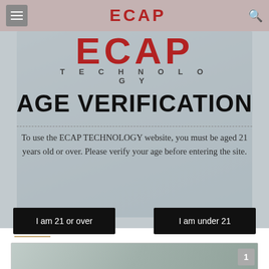ECAP TECHNOLOGY
AGE VERIFICATION
To use the ECAP TECHNOLOGY website, you must be aged 21 years old or over. Please verify your age before entering the site.
I am 21 or over
I am under 21
Products